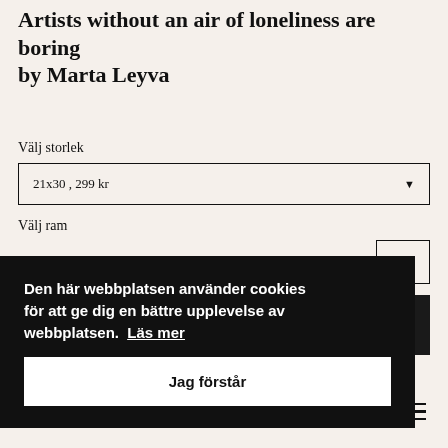Artists without an air of loneliness are boring
by Marta Leyva
Välj storlek
21x30 , 299 kr
Välj ram
Den här webbplatsen använder cookies för att ge dig en bättre upplevelse av webbplatsen. Läs mer
Jag förstår